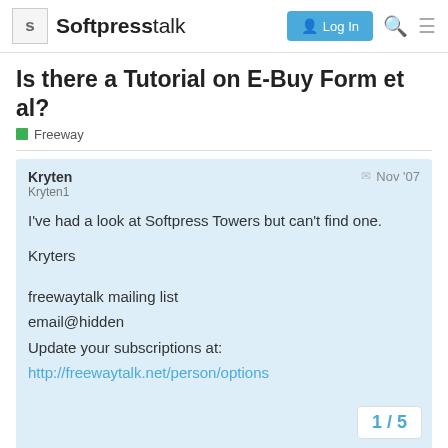Softpresstalk — Log In
Is there a Tutorial on E-Buy Form et al?
Freeway
Kryten
Kryten1
Nov '07
I've had a look at Softpress Towers but can't find one.

Kryters

freewaytalk mailing list
email@hidden
Update your subscriptions at:
http://freewaytalk.net/person/options
1 / 5